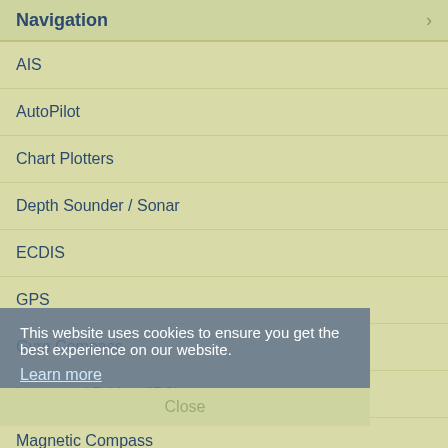Navigation
AIS
AutoPilot
Chart Plotters
Depth Sounder / Sonar
ECDIS
GPS
Gyro Compass
Integrated Bridge (IBS)
Magnetic Compass
Radar
Satellite Compass
Speed LOGs
Steering Systems
This website uses cookies to ensure you get the best experience on our website. Learn more Close